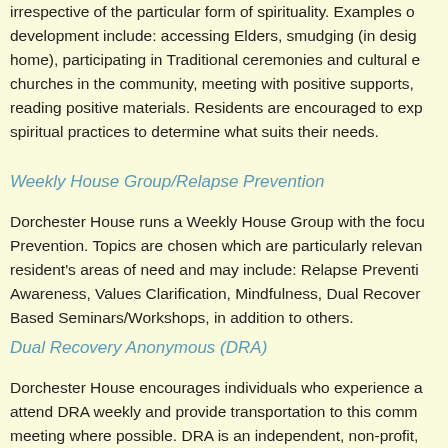irrespective of the particular form of spirituality. Examples of development include: accessing Elders, smudging (in design home), participating in Traditional ceremonies and cultural e churches in the community, meeting with positive supports, reading positive materials. Residents are encouraged to exp spiritual practices to determine what suits their needs.
Weekly House Group/Relapse Prevention
Dorchester House runs a Weekly House Group with the focu Prevention. Topics are chosen which are particularly relevan resident's areas of need and may include: Relapse Preventi Awareness, Values Clarification, Mindfulness, Dual Recover Based Seminars/Workshops, in addition to others.
Dual Recovery Anonymous (DRA)
Dorchester House encourages individuals who experience a attend DRA weekly and provide transportation to this comm meeting where possible. DRA is an independent, non-profit,